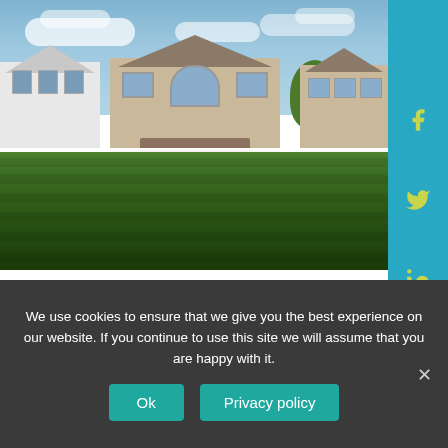[Figure (photo): Suburban backyard view with three large houses in background, white vinyl fence, wide manicured green lawn with mowing stripes, partly cloudy blue sky]
INVESTING IN TURNKEY
We use cookies to ensure that we give you the best experience on our website. If you continue to use this site we will assume that you are happy with it.
Ok   Privacy policy